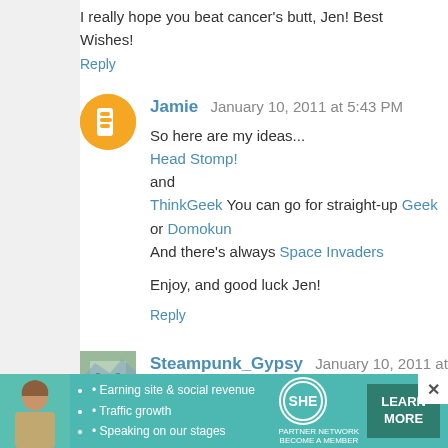I really hope you beat cancer's butt, Jen! Best Wishes!
Reply
Jamie  January 10, 2011 at 5:43 PM
So here are my ideas...
Head Stomp!
and
ThinkGeek You can go for straight-up Geek or Domokun
And there's always Space Invaders

Enjoy, and good luck Jen!
Reply
Steampunk_Gypsy  January 10, 2011 at 5:49 PM
Here's a neat airship pirate bandana!
http://www.mykeamend.com/new/products-page/all-products

Ninja kitty!! There are other cute animal hats, too, but I'm fo

http://www.etsy.com/listing/62512633/ninja-kitty-cat-black-tw

I saw some cute aviator beanies for kids, but there mu
[Figure (infographic): SHE Partner Network advertisement banner at bottom of page]